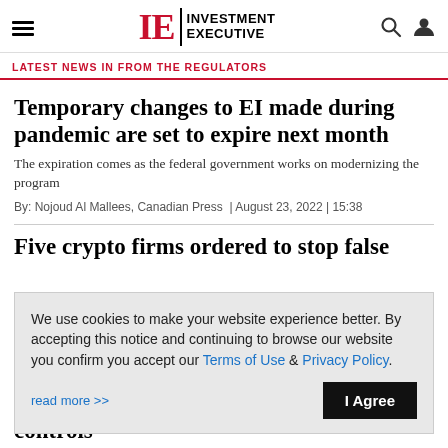IE Investment Executive
LATEST NEWS IN FROM THE REGULATORS
Temporary changes to EI made during pandemic are set to expire next month
The expiration comes as the federal government works on modernizing the program
By: Nojoud Al Mallees, Canadian Press  |  August 23, 2022 | 15:38
Five crypto firms ordered to stop false
We use cookies to make your website experience better. By accepting this notice and continuing to browse our website you confirm you accept our Terms of Use & Privacy Policy. read more >> I Agree
controls